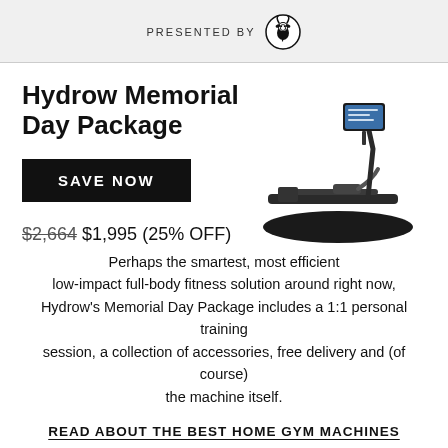PRESENTED BY [GOAT logo]
Hydrow Memorial Day Package
[Figure (photo): Hydrow rowing machine with screen on dark mat]
SAVE NOW
$2,664 $1,995 (25% OFF)
Perhaps the smartest, most efficient low-impact full-body fitness solution around right now, Hydrow's Memorial Day Package includes a 1:1 personal training session, a collection of accessories, free delivery and (of course) the machine itself.
READ ABOUT THE BEST HOME GYM MACHINES
Outer Teak &